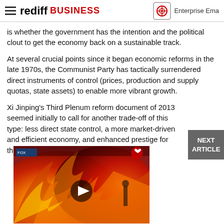rediff BUSINESS | Enterprise Email
is whether the government has the intention and the political clout to get the economy back on a sustainable track.
At several crucial points since it began economic reforms in the late 1970s, the Communist Party has tactically surrendered direct instruments of control (prices, production and supply quotas, state assets) to enable more vibrant growth.
Xi Jinping's Third Plenum reform document of 2013 seemed initially to call for another trade-off of this type: less direct state control, a more market-driven and efficient economy, and enhanced prestige for the Communist Party down the road.
[Figure (photo): Video thumbnail showing fire/flames scene with a play button overlay and a small heart icon in the top right corner. A dark blue bar labeled with text is visible in the upper left.]